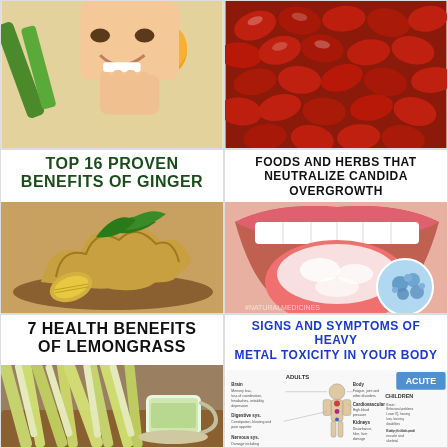[Figure (photo): Person holding vegetables including cucumber and orange, smiling]
[Figure (photo): Close-up of red dates/jujube fruits]
TOP 16 PROVEN BENEFITS OF GINGER
[Figure (photo): Fresh ginger root with green leaves on wooden surface]
FOODS AND HERBS THAT NEUTRALIZE CANDIDA OVERGROWTH
[Figure (photo): Open mouth showing tongue with white coating (candida), inset microscope image of candida cells]
7 HEALTH BENEFITS OF LEMONGRASS
[Figure (photo): Lemongrass stalks and a cup of lemongrass tea on wooden board]
SIGNS AND SYMPTOMS OF HEAVY METAL TOXICITY IN YOUR BODY
[Figure (infographic): Medical infographic showing signs and symptoms of heavy metal toxicity in adults and children, body diagram with labels for brain, cardiovascular, digestive, nervous system, kidneys, thyroid. ACUTE label highlighted in blue.]